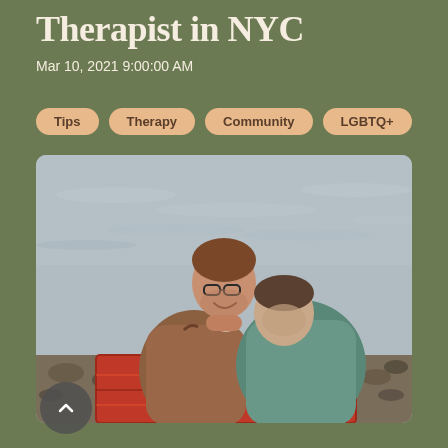Therapist in NYC
Mar 10, 2021 9:00:00 AM
Tips
Therapy
Community
LGBTQ+
[Figure (photo): Two men sitting together by a rocky waterside on a patterned blanket. One man wearing a brown sweater with glasses is smiling; the other in a teal sweater is leaning his head on the first man's shoulder.]